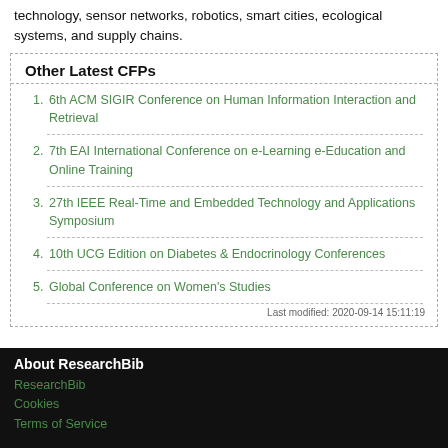technology, sensor networks, robotics, smart cities, ecological systems, and supply chains.
Other Latest CFPs
6th ACM SIGIR Conference on Human Information Interaction and Retrieval
7th EAI International Conference on e-Learning e-Education and Online Training
27th IEEE Real-Time and Embedded Technology and Applications Symposium
10th UCG Edition on Diabetes & Endocrinology Conferences
Global Conference on Women's Studies
Last modified: 2020-09-14 15:11:19
About ResearchBib
ResearchBib
Cookies
Terms of Service